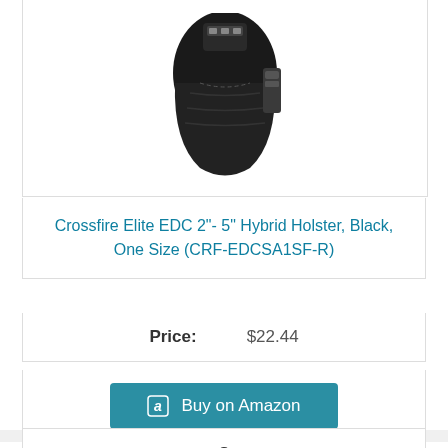[Figure (photo): Photo of a black Crossfire Elite hybrid holster seen from above/side angle]
Crossfire Elite EDC 2"- 5" Hybrid Holster, Black, One Size (CRF-EDCSA1SF-R)
Price: $22.44
Buy on Amazon
3
[Figure (photo): Photo of a black pistol handgun]